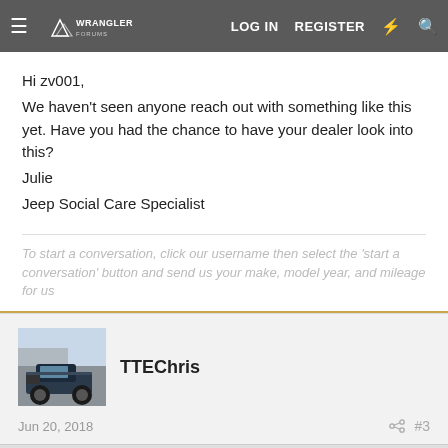Wrangler Forums | LOG IN  REGISTER
Hi zv001,
We haven't seen anyone reach out with something like this yet. Have you had the chance to have your dealer look into this?
Julie
Jeep Social Care Specialist
To start a conversation, click our username then select the 'start a conversation' button and send us your make, model year, and mileage for us
[Figure (photo): Avatar photo of user TTEChris showing a large lifted off-road truck/Jeep in a parking lot]
TTEChris
Jun 20, 2018  #3